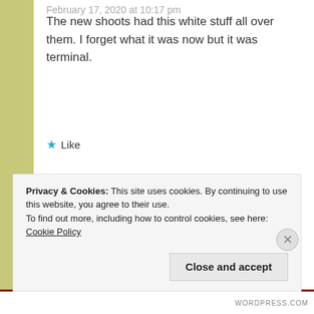February 17, 2020 at 10:17 pm
The new shoots had this white stuff all over them. I forget what it was now but it was terminal.
★ Like
FORESTWOOD
February 18, 2020 at 7:59 am
Aphids? They are so hard to get rid
Privacy & Cookies: This site uses cookies. By continuing to use this website, you agree to their use.
To find out more, including how to control cookies, see here: Cookie Policy
Close and accept